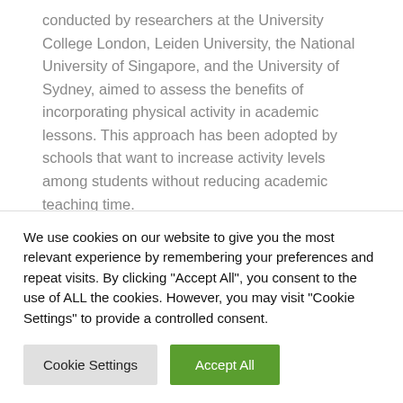conducted by researchers at the University College London, Leiden University, the National University of Singapore, and the University of Sydney, aimed to assess the benefits of incorporating physical activity in academic lessons. This approach has been adopted by schools that want to increase activity levels among students without reducing academic teaching time.
Typical activities include using movement to signify whether a fact is true or false, or jumping on the spot a certain number of times to answer a math question, the…
We use cookies on our website to give you the most relevant experience by remembering your preferences and repeat visits. By clicking "Accept All", you consent to the use of ALL the cookies. However, you may visit "Cookie Settings" to provide a controlled consent.